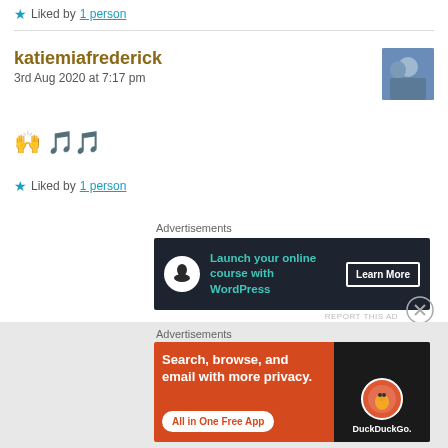★ Liked by 1 person
katiemiafrederick
3rd Aug 2020 at 7:17 pm
🙌 🎵🎵
★ Liked by 1 person
Advertisements
[Figure (infographic): Dark navy advertisement banner: bonsai tree logo circle, text 'Launch your online course with WordPress', button 'Learn More']
Advertisements
[Figure (infographic): Orange DuckDuckGo advertisement: 'Search, browse, and email with more privacy. All in One Free App' with DuckDuckGo duck logo on dark phone mockup]